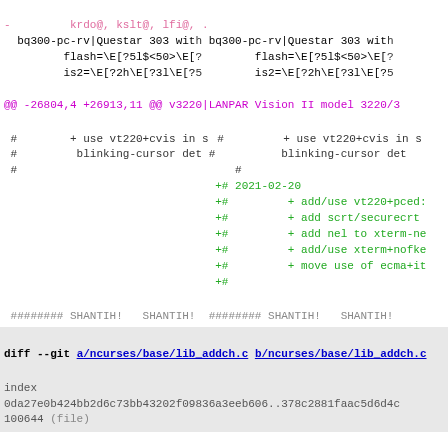diff output showing ncurses terminfo and lib_addch.c changes
@@ -26804,4 +26913,11 @@ v3220|LANPAR Vision II model 3220/3
diff --git a/ncurses/base/lib_addch.c b/ncurses/base/lib_addch.c
index 0da27e0b424bb2d6c73bb43202f09836a3eeb606..378c2881faac5d6d4c 100644 (file)
--- a/ncurses/base/lib_addch.c
+++ b/ncurses/base/lib_addch.c
@@ -37,7 +37,7 @@
#include <curses.priv.h>
#include <ctype.h>
-MODULE_ID("$Id: lib_addch.c,+MODULE_ID("$Id: lib_addch.c,
static const NCURSES_CH_T b: static const NCURSES_CH_T b: